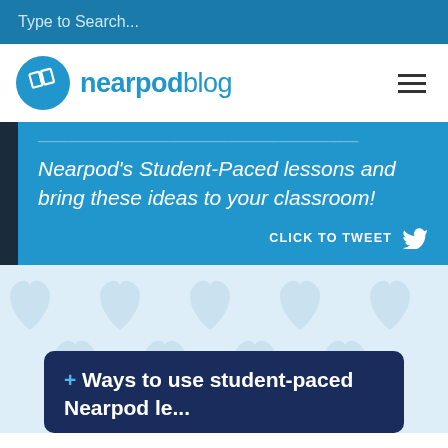Type to Search...
[Figure (logo): Nearpod blog logo with circular icon and text]
Nearpod's Student-Paced lessons and bring these ideas to your classroom!
CLICK TO TWEET
[Figure (infographic): Light blue background with heart/location pin pattern icons repeated across the area, and a dark navy rounded rectangle title box at the bottom reading '+ Ways to use student-paced Nearpod le...']